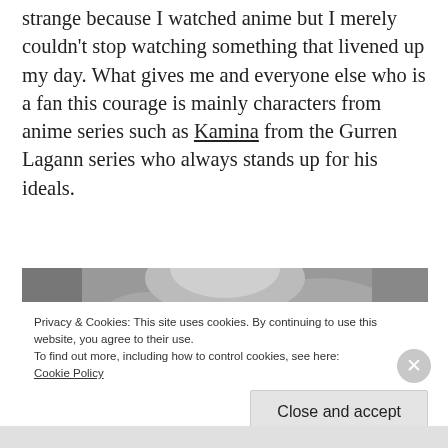strange because I watched anime but I merely couldn't stop watching something that livened up my day. What gives me and everyone else who is a fan this courage is mainly characters from anime series such as Kamina from the Gurren Lagann series who always stands up for his ideals.
[Figure (photo): Partial grayscale anime illustration visible at top, partially obscured by cookie consent banner]
Privacy & Cookies: This site uses cookies. By continuing to use this website, you agree to their use.
To find out more, including how to control cookies, see here:
Cookie Policy
Close and accept